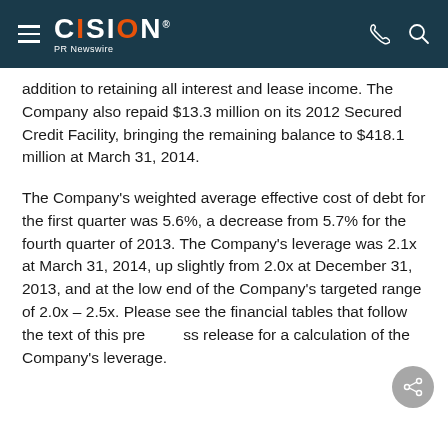CISION PR Newswire
addition to retaining all interest and lease income. The Company also repaid $13.3 million on its 2012 Secured Credit Facility, bringing the remaining balance to $418.1 million at March 31, 2014.
The Company's weighted average effective cost of debt for the first quarter was 5.6%, a decrease from 5.7% for the fourth quarter of 2013. The Company's leverage was 2.1x at March 31, 2014, up slightly from 2.0x at December 31, 2013, and at the low end of the Company's targeted range of 2.0x – 2.5x. Please see the financial tables that follow the text of this press release for a calculation of the Company's leverage.